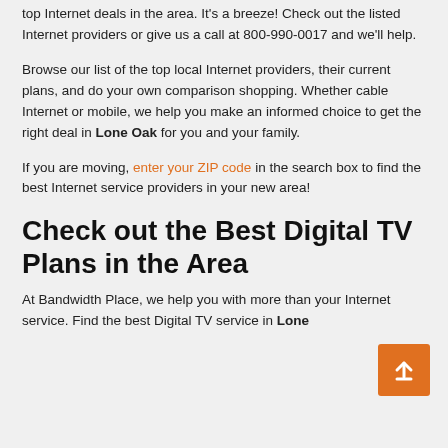top Internet deals in the area. It's a breeze! Check out the listed Internet providers or give us a call at 800-990-0017 and we'll help.
Browse our list of the top local Internet providers, their current plans, and do your own comparison shopping. Whether cable Internet or mobile, we help you make an informed choice to get the right deal in Lone Oak for you and your family.
If you are moving, enter your ZIP code in the search box to find the best Internet service providers in your new area!
Check out the Best Digital TV Plans in the Area
At Bandwidth Place, we help you with more than your Internet service. Find the best Digital TV service in Lone